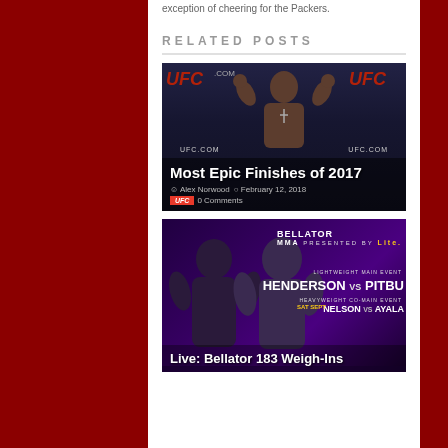exception of cheering for the Packers.
RELATED POSTS
[Figure (photo): UFC fighter posing with arms flexed at a UFC weigh-in backdrop, with overlay text 'Most Epic Finishes of 2017', author 'Alex Norwood', date 'February 12, 2018', and '0 Comments' with UFC badge]
[Figure (photo): Bellator 183 promotional image showing fighters with event branding: Henderson vs Pitbull, Nelson vs Ayala, with overlay text 'Live: Bellator 183 Weigh-Ins']